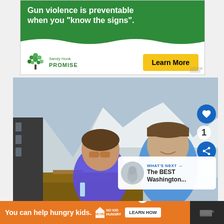[Figure (photo): Sandy Hook Promise advertisement banner: green background with text 'Gun violence is preventable when you "know the signs".' with Sandy Hook Promise logo and 'Learn More' yellow button]
[Figure (photo): Selfie photo of a man and woman smiling outdoors with a mountain glacier and alpine lodge in the background. The man wears a baseball cap and blue puffer jacket; the woman wears sunglasses and a blue puffer jacket. UI elements visible: heart/like button (1 like), share button, and 'WHAT'S NEXT' panel showing 'The BEST Washington...']
[Figure (photo): No Kid Hungry advertisement banner: orange background with text 'You can help hungry kids.' No Kid Hungry logo and 'LEARN HOW' button]